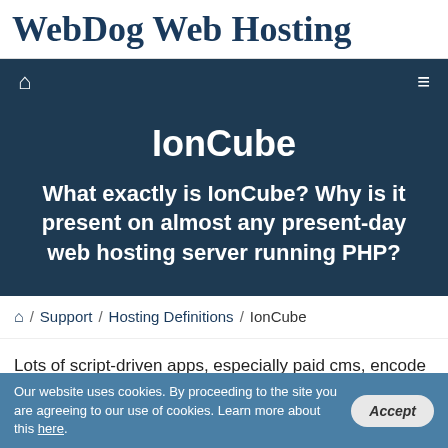WebDog Web Hosting
IonCube
What exactly is IonCube? Why is it present on almost any present-day web hosting server running PHP?
⌂ / Support / Hosting Definitions / IonCube
Lots of script-driven apps, especially paid cms, encode their
Our website uses cookies. By proceeding to the site you are agreeing to our use of cookies. Learn more about this here.